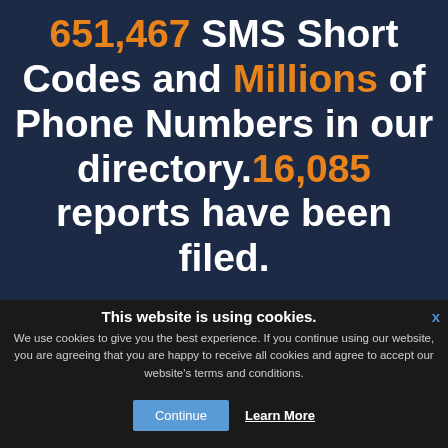651,467 SMS Short Codes and Millions of Phone Numbers in our directory.16,085 reports have been filed.
This website is using cookies.
We use cookies to give you the best experience. If you continue using our website, you are agreeing that you are happy to receive all cookies and agree to accept our website's terms and conditions.